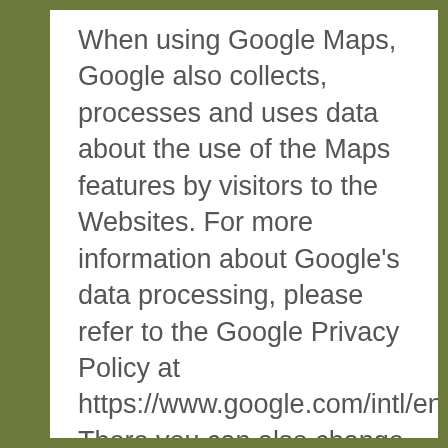When using Google Maps, Google also collects, processes and uses data about the use of the Maps features by visitors to the Websites. For more information about Google's data processing, please refer to the Google Privacy Policy at https://www.google.com/intl/en/help/terms. There you can also change your settings in the privacy center, so that you can manage and protect your data.